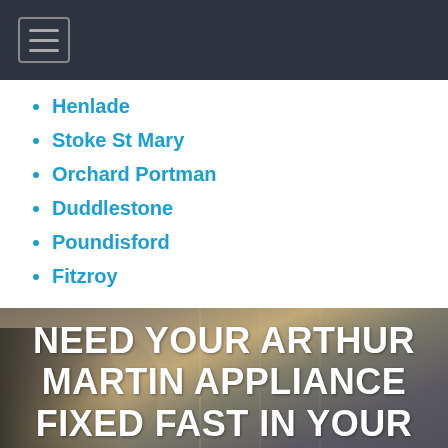[Navigation menu button]
Henlade
Stoke St Mary
Orchard Portman
Duddlestone
Poundisford
Fitzroy
[Figure (photo): Background photo of a kitchen scene with a person, overlaid with large white text reading NEED YOUR ARTHUR MARTIN APPLIANCE FIXED FAST IN YOUR LOCAL AREA]
NEED YOUR ARTHUR MARTIN APPLIANCE FIXED FAST IN YOUR LOCAL AREA